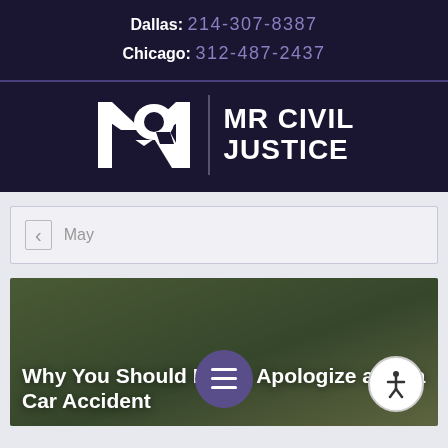Dallas: 214-307-8387
Chicago: 312-487-2437
[Figure (logo): MR Civil Justice logo with stylized MR lettermark and text]
< May
[Figure (photo): Article thumbnail image with overlay text: Why You Should Never Apologize After a Car Accident]